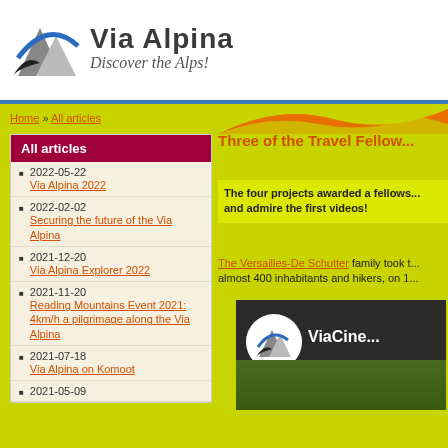[Figure (logo): Via Alpina logo with mountain graphic and text 'Via Alpina Discover the Alps!']
Home » All articles
All articles
2022-05-22
Via Alpina 2022
2022-02-02
Securing the future of the Via Alpina
2021-12-20
Via Alpina Explorer 2022
2021-11-20
Reading Mountains Event 2021: 4km/h a pilgrimage along the Via Alpina
2021-07-18
Via Alpina on Komoot
2021-05-09
Three of the Travel Fellow...
The four projects awarded a fellows... and admire the first videos!
The Versailles-De Schutter family took t... almost 400 inhabitants and hikers, on 1...
[Figure (screenshot): ViaCine video thumbnail showing mountain landscape with Via Alpina circular logo]